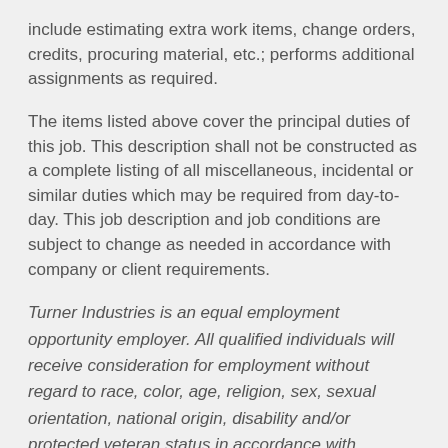include estimating extra work items, change orders, credits, procuring material, etc.; performs additional assignments as required.
The items listed above cover the principal duties of this job. This description shall not be constructed as a complete listing of all miscellaneous, incidental or similar duties which may be required from day-to-day. This job description and job conditions are subject to change as needed in accordance with company or client requirements.
Turner Industries is an equal employment opportunity employer. All qualified individuals will receive consideration for employment without regard to race, color, age, religion, sex, sexual orientation, national origin, disability and/or protected veteran status in accordance with governing law.
SPECIAL WARNING: PLEASE BE AWARE THAT YOU WILL NOT HAVE TO PAY FOR THIS DRUG/ALCOHOL TEST. PLEASE DO NOT SEND MONEY OR ANYTHING OF VALUE TO PERSONS WHO STATE THAT